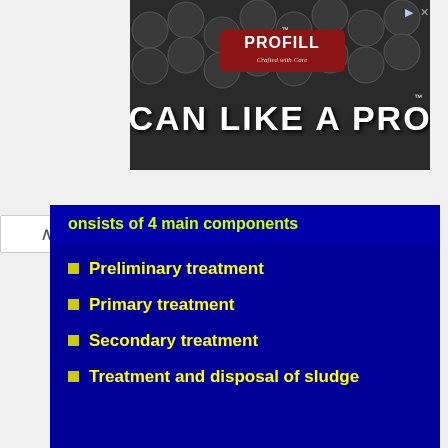[Figure (screenshot): Advertisement banner for PROFILL 'Can Like a Pro' product, with dark background showing metal cans]
onsists of 4 main components
Preliminary treatment
Primary treatment
Secondary treatment
Treatment and disposal of sludge
[Figure (screenshot): Water Purification and Sewage slide with sky/clouds background]
Water Purification and Sewage